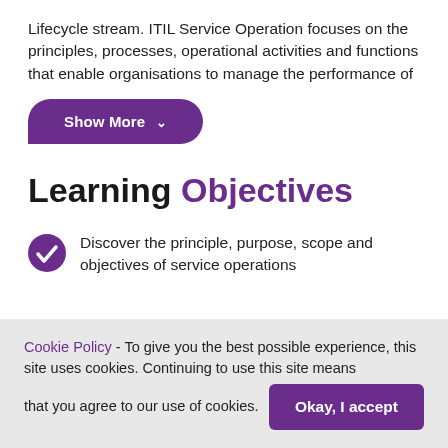Lifecycle stream. ITIL Service Operation focuses on the principles, processes, operational activities and functions that enable organisations to manage the performance of
[Figure (other): Purple 'Show More' button with chevron down arrow, rounded pill shape with flat bottom-left corner]
Learning Objectives
Discover the principle, purpose, scope and objectives of service operations
Cookie Policy - To give you the best possible experience, this site uses cookies. Continuing to use this site means that you agree to our use of cookies. Okay, I accept